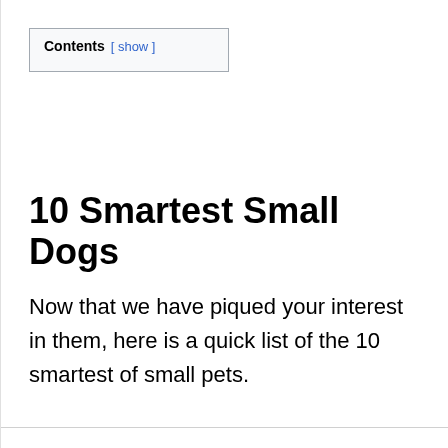| Contents |
| --- |
| [ show ] |
10 Smartest Small Dogs
Now that we have piqued your interest in them, here is a quick list of the 10 smartest of small pets.